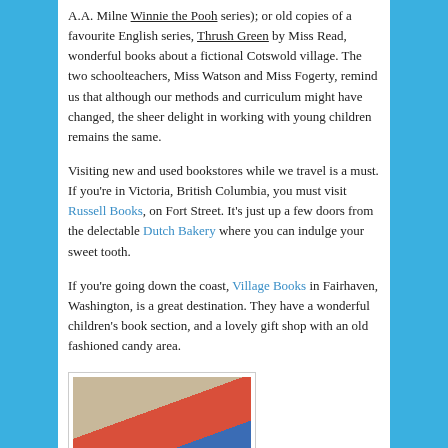A.A. Milne Winnie the Pooh series); or old copies of a favourite English series, Thrush Green by Miss Read, wonderful books about a fictional Cotswold village. The two schoolteachers, Miss Watson and Miss Fogerty, remind us that although our methods and curriculum might have changed, the sheer delight in working with young children remains the same.
Visiting new and used bookstores while we travel is a must. If you're in Victoria, British Columbia, you must visit Russell Books, on Fort Street. It's just up a few doors from the delectable Dutch Bakery where you can indulge your sweet tooth.
If you're going down the coast, Village Books in Fairhaven, Washington, is a great destination. They have a wonderful children's book section, and a lovely gift shop with an old fashioned candy area.
[Figure (photo): A shopping bag with red and blue design elements, partially visible at the bottom of the page.]